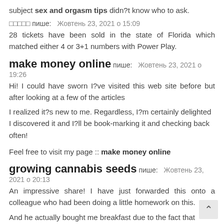subject sex and orgasm tips didn?t know who to ask.
□□□□□ пише:   Жовтень 23, 2021 о 15:09
28 tickets have been sold in the state of Florida which matched either 4 or 3+1 numbers with Power Play.
make money online пише:   Жовтень 23, 2021 о 19:26
Hi! I could have sworn I?ve visited this web site before but after looking at a few of the articles
I realized it?s new to me. Regardless, I?m certainly delighted I discovered it and I?ll be book-marking it and checking back often!
Feel free to visit my page :: make money online
growing cannabis seeds пише:   Жовтень 23, 2021 о 20:13
An impressive share! I have just forwarded this onto a colleague who had been doing a little homework on this.
And he actually bought me breakfast due to the fact that I stumbled upon it for him... lol. So let me reword this